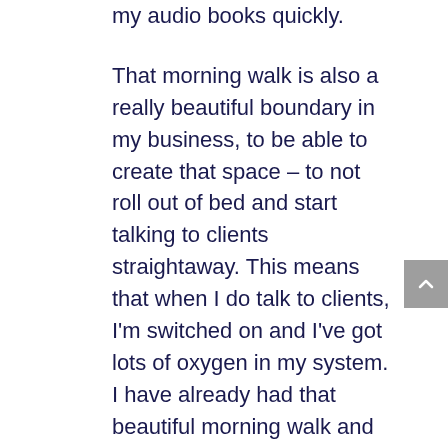my audio books quickly.
That morning walk is also a really beautiful boundary in my business, to be able to create that space – to not roll out of bed and start talking to clients straightaway. This means that when I do talk to clients, I'm switched on and I've got lots of oxygen in my system. I have already had that beautiful morning walk and had a chance to get my head together. I've set myself up for the day really beautifully. By the time I have my first client call, I've got myself together.
Part of the reason why this morning walk